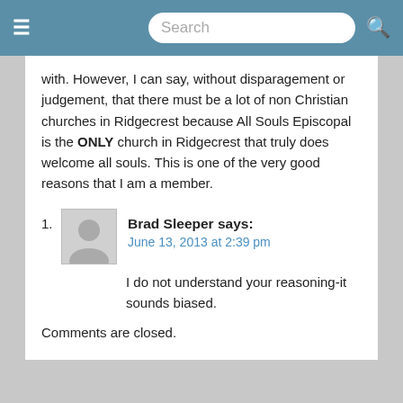Search
with. However, I can say, without disparagement or judgement, that there must be a lot of non Christian churches in Ridgecrest because All Souls Episcopal is the ONLY church in Ridgecrest that truly does welcome all souls. This is one of the very good reasons that I am a member.
Brad Sleeper says: June 13, 2013 at 2:39 pm
I do not understand your reasoning-it sounds biased.
Comments are closed.